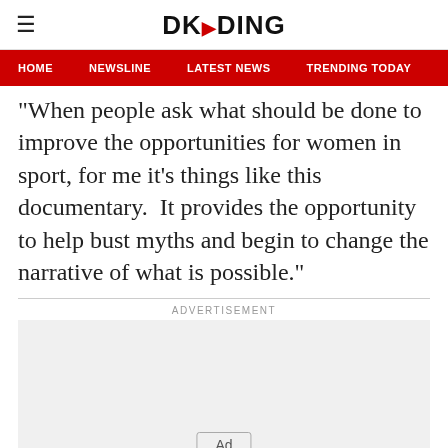DKODING
HOME  NEWSLINE  LATEST NEWS  TRENDING TODAY  ENT
“When people ask what should be done to improve the opportunities for women in sport, for me it’s things like this documentary.  It provides the opportunity to help bust myths and begin to change the narrative of what is possible.”
ADVERTISEMENT
[Figure (other): Advertisement placeholder box with Ad badge at bottom center]